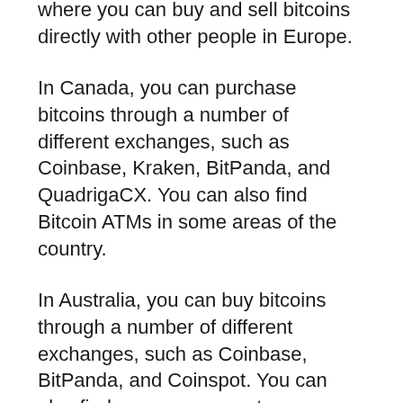where you can buy and sell bitcoins directly with other people in Europe.
In Canada, you can purchase bitcoins through a number of different exchanges, such as Coinbase, Kraken, BitPanda, and QuadrigaCX. You can also find Bitcoin ATMs in some areas of the country.
In Australia, you can buy bitcoins through a number of different exchanges, such as Coinbase, BitPanda, and Coinspot. You can also find numerous peer-to-peer marketplaces where you can buy and sell bitcoins directly with other people.
There are also a few different ways to buy bitcoins in Asia. One popular way is